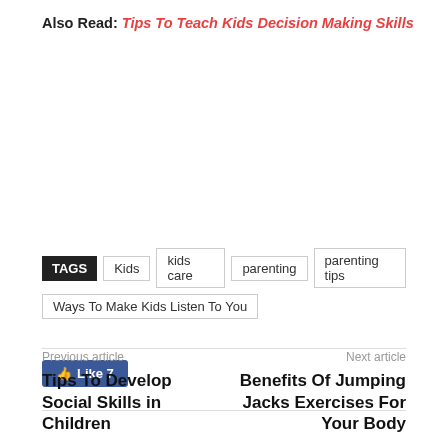Also Read: Tips To Teach Kids Decision Making Skills
TAGS  Kids  kids care  parenting  parenting tips  Ways To Make Kids Listen To You
[Figure (other): Facebook Like button showing 'Like 7']
Previous article
Tips To Develop Social Skills in Children
Next article
Benefits Of Jumping Jacks Exercises For Your Body